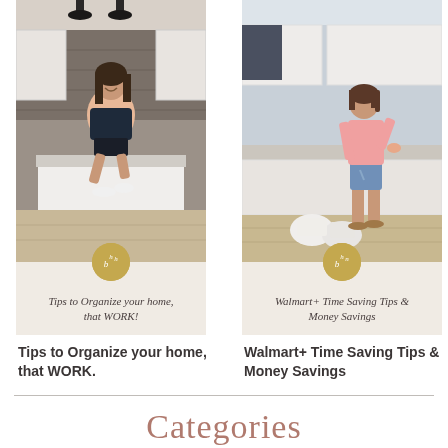[Figure (photo): Woman sitting on kitchen counter island, smiling, wearing dark t-shirt and shorts, white sneakers, modern kitchen with white cabinets and stone backsplash. Card includes logo circle and italic overlay text 'Tips to Organize your home, that WORK!']
[Figure (photo): Woman standing in kitchen near counter with grocery bags on floor, wearing pink top and denim shorts with sandals, modern kitchen with light wood floors. Card includes logo circle and overlay text 'Walmart+ Time Saving Tips & Money Savings']
Tips to Organize your home, that WORK.
Walmart+ Time Saving Tips & Money Savings
Categories
BACKYARD